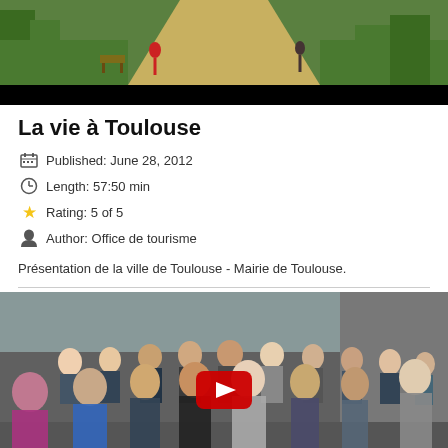[Figure (photo): Video thumbnail showing a park scene with a path and figures, with a black bar at the bottom]
La vie à Toulouse
Published: June 28, 2012
Length: 57:50 min
Rating: 5 of 5
Author: Office de tourisme
Présentation de la ville de Toulouse - Mairie de Toulouse.
[Figure (photo): Video thumbnail showing a group photo of many people with a red YouTube play button overlay in the center]